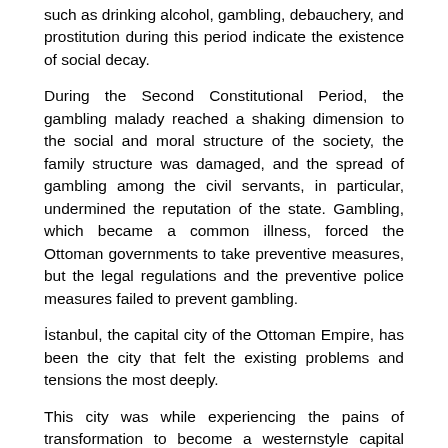such as drinking alcohol, gambling, debauchery, and prostitution during this period indicate the existence of social decay.
During the Second Constitutional Period, the gambling malady reached a shaking dimension to the social and moral structure of the society, the family structure was damaged, and the spread of gambling among the civil servants, in particular, undermined the reputation of the state. Gambling, which became a common illness, forced the Ottoman governments to take preventive measures, but the legal regulations and the preventive police measures failed to prevent gambling.
İstanbul, the capital city of the Ottoman Empire, has been the city that felt the existing problems and tensions the most deeply.
This city was while experiencing the pains of transformation to become a westernstyle capital since the second half of the 19th century also hosted to a western lifestyle. In this respect, nightlife was enlivened, and clubs, bars, restaurants, casinos, and hotels formed the new places of entertainment. The traditional pattern of the capital of the Ottoman State was degenerated, and drinking alcohol, gambling, and debauchery became common in coffeehouses and other places.
The primary sources of this study are the documents from the